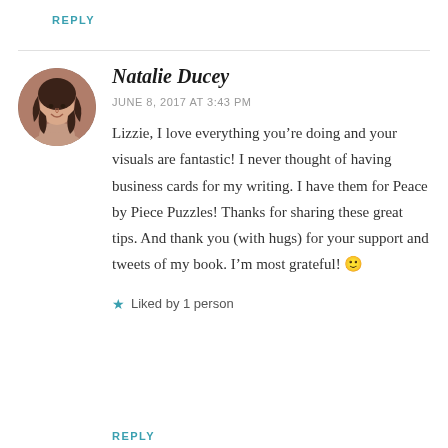REPLY
[Figure (photo): Circular avatar photo of Natalie Ducey, a woman with dark wavy hair, smiling]
Natalie Ducey
JUNE 8, 2017 AT 3:43 PM
Lizzie, I love everything you’re doing and your visuals are fantastic! I never thought of having business cards for my writing. I have them for Peace by Piece Puzzles! Thanks for sharing these great tips. And thank you (with hugs) for your support and tweets of my book. I’m most grateful! 🙂
Liked by 1 person
REPLY